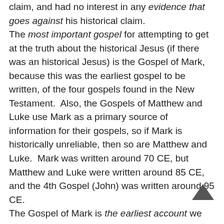claim, and had no interest in any evidence that goes against his historical claim. The most important gospel for attempting to get at the truth about the historical Jesus (if there was an historical Jesus) is the Gospel of Mark, because this was the earliest gospel to be written, of the four gospels found in the New Testament.  Also, the Gospels of Matthew and Luke use Mark as a primary source of information for their gospels, so if Mark is historically unreliable, then so are Matthew and Luke.  Mark was written around 70 CE, but Matthew and Luke were written around 85 CE, and the 4th Gospel (John) was written around 95 CE. The Gospel of Mark is the earliest account we